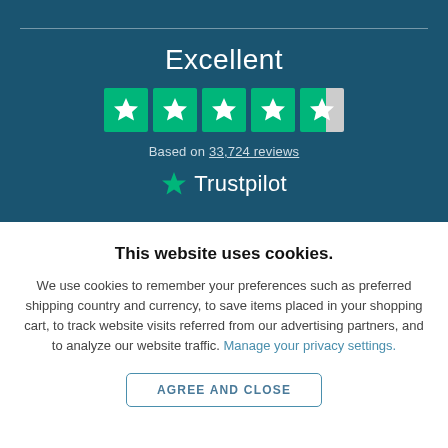[Figure (infographic): Trustpilot rating widget showing 'Excellent' with 4.5 green stars and 'Based on 33,724 reviews' text, with Trustpilot logo]
This website uses cookies.
We use cookies to remember your preferences such as preferred shipping country and currency, to save items placed in your shopping cart, to track website visits referred from our advertising partners, and to analyze our website traffic. Manage your privacy settings.